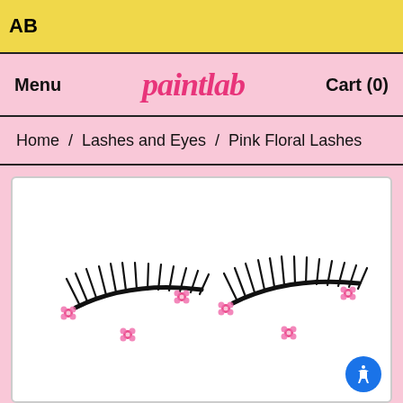AB
paintlab | Menu | Cart (0)
Home / Lashes and Eyes / Pink Floral Lashes
[Figure (photo): Product photo of Pink Floral Lashes — two black false eyelash strips with small pink floral embellishments, displayed on a white background.]